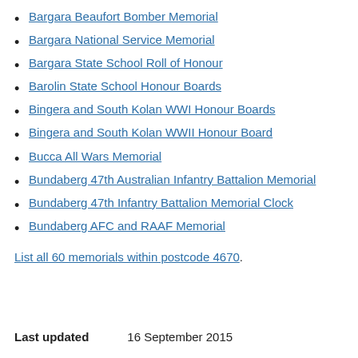Bargara Beaufort Bomber Memorial
Bargara National Service Memorial
Bargara State School Roll of Honour
Barolin State School Honour Boards
Bingera and South Kolan WWI Honour Boards
Bingera and South Kolan WWII Honour Board
Bucca All Wars Memorial
Bundaberg 47th Australian Infantry Battalion Memorial
Bundaberg 47th Infantry Battalion Memorial Clock
Bundaberg AFC and RAAF Memorial
List all 60 memorials within postcode 4670.
Last updated    16 September 2015